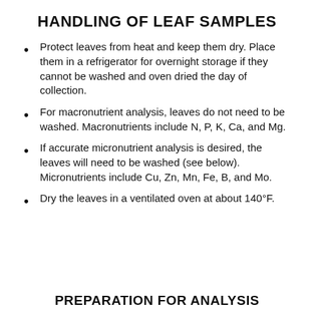HANDLING OF LEAF SAMPLES
Protect leaves from heat and keep them dry. Place them in a refrigerator for overnight storage if they cannot be washed and oven dried the day of collection.
For macronutrient analysis, leaves do not need to be washed. Macronutrients include N, P, K, Ca, and Mg.
If accurate micronutrient analysis is desired, the leaves will need to be washed (see below). Micronutrients include Cu, Zn, Mn, Fe, B, and Mo.
Dry the leaves in a ventilated oven at about 140°F.
PREPARATION FOR ANALYSIS